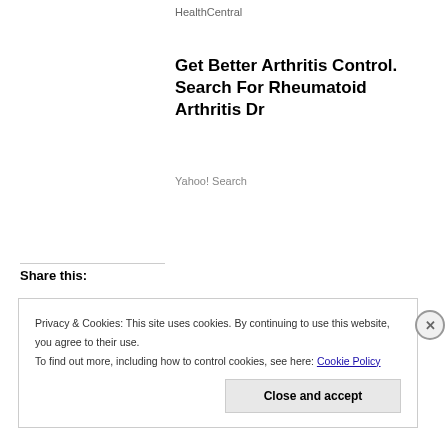HealthCentral
Get Better Arthritis Control. Search For Rheumatoid Arthritis Dr
Yahoo! Search
Share this:
Privacy & Cookies: This site uses cookies. By continuing to use this website, you agree to their use.
To find out more, including how to control cookies, see here: Cookie Policy